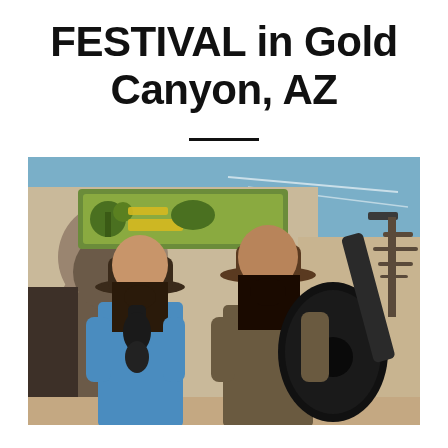FESTIVAL in Gold Canyon, AZ
[Figure (photo): Two men dressed in cowboy/renaissance fair costumes holding dark acoustic guitars, standing in front of a building with an arched entrance and a sign reading 'de la ROSA'. Blue sky with a bare tree visible in background.]